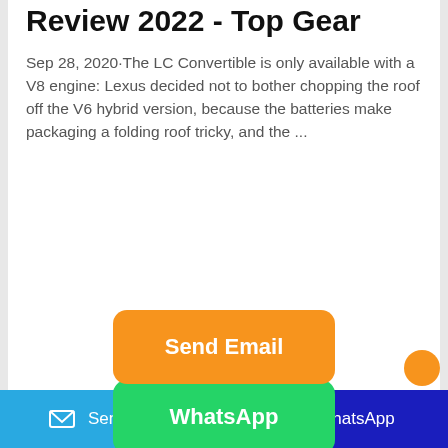Review 2022 - Top Gear
Sep 28, 2020·The LC Convertible is only available with a V8 engine: Lexus decided not to bother chopping the roof off the V6 hybrid version, because the batteries make packaging a folding roof tricky, and the ...
[Figure (other): Orange 'Send Email' button (rounded rectangle, orange background, white bold text)]
[Figure (other): Green 'WhatsApp' button (rounded rectangle, green background, white bold text)]
[Figure (other): Bottom bar with two buttons: blue 'Send Email' button with envelope icon on left, dark blue 'WhatsApp' button with WhatsApp icon on right]